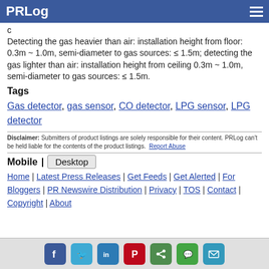PRLog
c
Detecting the gas heavier than air: installation height from floor: 0.3m ~ 1.0m, semi-diameter to gas sources: ≤ 1.5m; detecting the gas lighter than air: installation height from ceiling 0.3m ~ 1.0m, semi-diameter to gas sources: ≤ 1.5m.
Tags
Gas detector, gas sensor, CO detector, LPG sensor, LPG detector
Disclaimer: Submitters of product listings are solely responsible for their content. PRLog can't be held liable for the contents of the product listings. Report Abuse
Mobile | Desktop
Home | Latest Press Releases | Get Feeds | Get Alerted | For Bloggers | PR Newswire Distribution | Privacy | TOS | Contact | Copyright | About